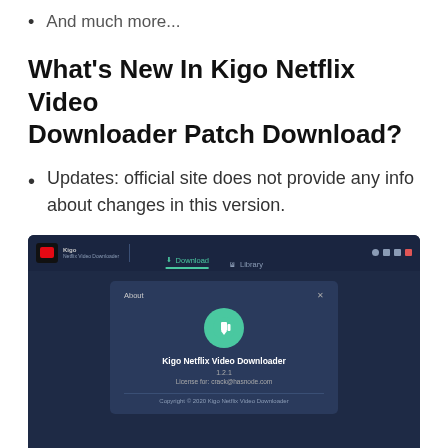And much more...
What's New In Kigo Netflix Video Downloader Patch Download?
Updates: official site does not provide any info about changes in this version.
[Figure (screenshot): Screenshot of Kigo Netflix Video Downloader application showing the About dialog with version 1.2.1, license for crack@hasnode.com, and Copyright 2020 notice.]